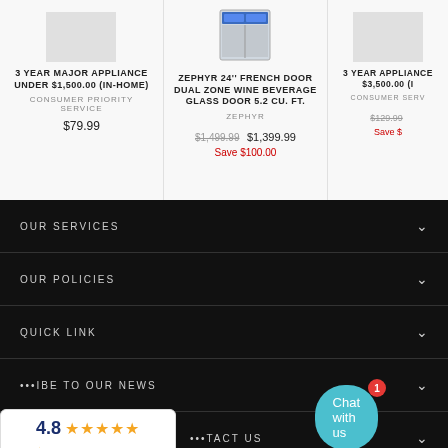3 YEAR MAJOR APPLIANCE UNDER $1,500.00 (IN-HOME)
CONSUMER PRIORITY SERVICE
$79.99
[Figure (illustration): Zephyr 24'' French Door Dual Zone Wine Beverage Glass Door refrigerator product image]
ZEPHYR 24'' FRENCH DOOR DUAL ZONE WINE BEVERAGE GLASS DOOR 5.2 CU. FT.
ZEPHYR
$1,499.99  $1,399.99  Save $100.00
3 YEAR APPLIANCE $3,500.00 (IN-HOME)
CONSUMER SERVICE
$129.99  Save $...
OUR SERVICES
OUR POLICIES
QUICK LINK
SUBSCRIBE TO OUR NEWS
Chat with us
4.8 ★★★★★ ShopperApproved
CONTACT US